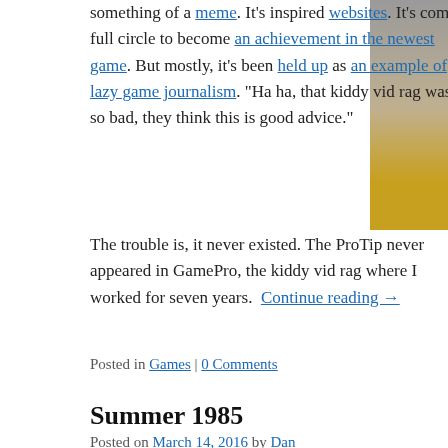something of a meme. It's inspired websites. It's come full circle to become an achievement in the newest game. But mostly, it's been held up as an example of lazy game journalism. "Ha ha, that kiddy vid rag was so bad, they think this is good advice."
The trouble is, it never existed. The ProTip never appeared in GamePro, the kiddy vid rag where I worked for seven years. Continue reading →
Posted in Games | 0 Comments
Summer 1985
Posted on March 14, 2016 by Dan
In 1985, when I was 14, I traveled with a small company of Evi men in the company, three were straight:: Juan Peron, Che, and together. I will admit to being freaked out when my roommate a because, you know, he'd be drinking with the cast post-show a